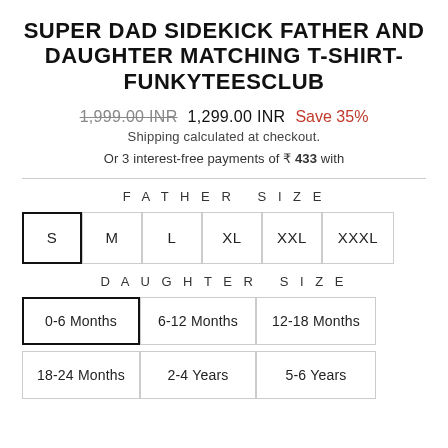SUPER DAD SIDEKICK FATHER AND DAUGHTER MATCHING T-SHIRT- FUNKYTEESCLUB
1,999.00 INR  1,299.00 INR  Save 35%
Shipping calculated at checkout.
Or 3 interest-free payments of ₹ 433 with
FATHER SIZE
S  M  L  XL  XXL  XXXL
DAUGHTER SIZE
0-6 Months  6-12 Months  12-18 Months
18-24 Months  2-4 Years  5-6 Years